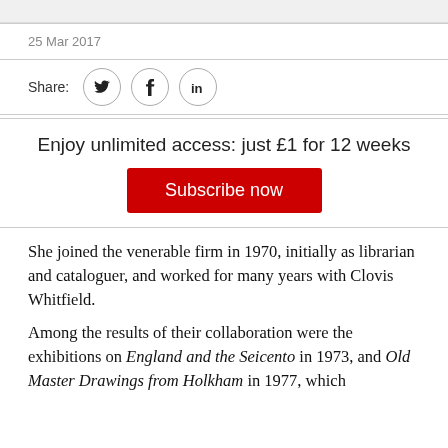25 Mar 2017
Share:
Enjoy unlimited access: just £1 for 12 weeks
Subscribe now
She joined the venerable firm in 1970, initially as librarian and cataloguer, and worked for many years with Clovis Whitfield.
Among the results of their collaboration were the exhibitions on England and the Seicento in 1973, and Old Master Drawings from Holkham in 1977, which